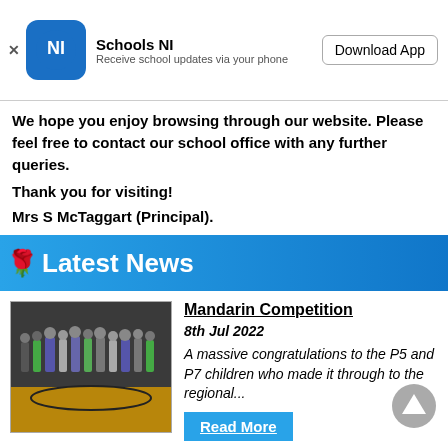[Figure (screenshot): Schools NI app download banner with logo, name, description, and Download App button]
We hope you enjoy browsing through our website. Please feel free to contact our school office with any further queries.
Thank you for visiting!
Mrs S McTaggart (Principal).
Latest News
[Figure (photo): Group photo of children and adults standing in a sports hall or theatre with dark background and wooden floor]
Mandarin Competition
8th Jul 2022
A massive congratulations to the P5 and P7 children who made it through to the regional...
Read More
[Figure (photo): Small thumbnail image with warm/dark tones, partial view of a retirement news item]
Retirement